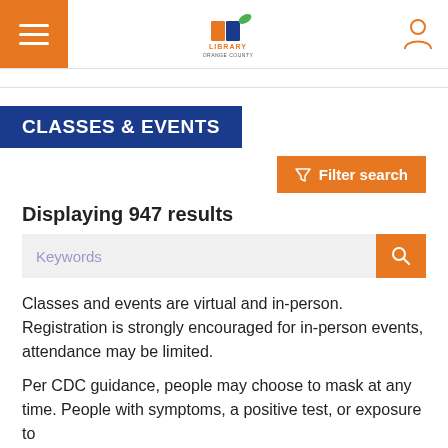Orange County Library System — Classes & Events
CLASSES & EVENTS
Filter search
Displaying 947 results
Keywords
Classes and events are virtual and in-person. Registration is strongly encouraged for in-person events, attendance may be limited.
Per CDC guidance, people may choose to mask at any time. People with symptoms, a positive test, or exposure to